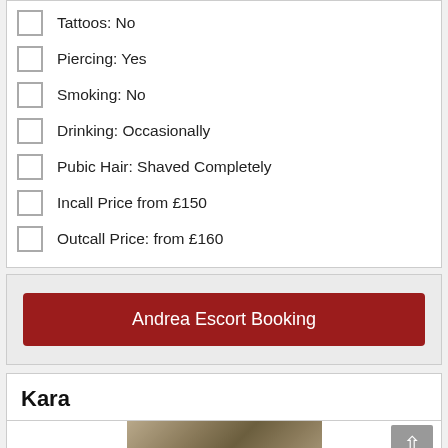Tattoos: No
Piercing: Yes
Smoking: No
Drinking: Occasionally
Pubic Hair: Shaved Completely
Incall Price from £150
Outcall Price: from £160
Andrea Escort Booking
Kara
[Figure (photo): Partial photograph of Kara, partially visible at bottom of page]